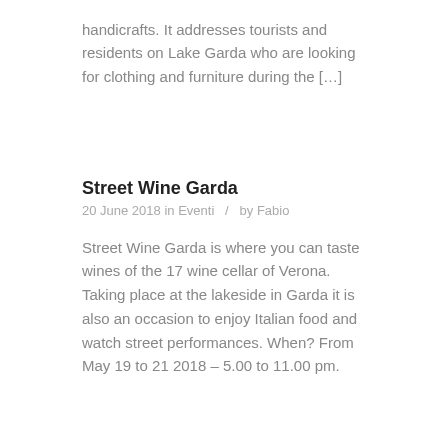handicrafts. It addresses tourists and residents on Lake Garda who are looking for clothing and furniture during the […]
Street Wine Garda
20 June 2018 in Eventi  /  by Fabio
Street Wine Garda is where you can taste wines of the 17 wine cellar of Verona. Taking place at the lakeside in Garda it is also an occasion to enjoy Italian food and watch street performances. When? From May 19 to 21 2018 – 5.00 to 11.00 pm.
Italian opera concerts
20 June 2018 in Eventi  /  by Fabio